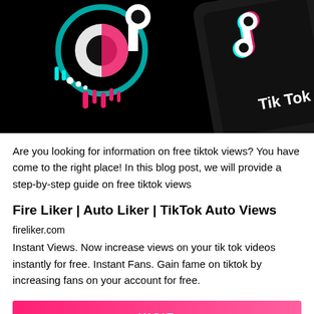[Figure (photo): TikTok logo with dripping neon cyan and pink design on black background, alongside a phone showing the TikTok app icon and 'Tik Tok' text in white]
Are you looking for information on free tiktok views? You have come to the right place! In this blog post, we will provide a step-by-step guide on free tiktok views
Fire Liker | Auto Liker | TikTok Auto Views
fireliker.com
Instant Views. Now increase views on your tik tok videos instantly for free. Instant Fans. Gain fame on tiktok by increasing fans on your account for free.
VISIT